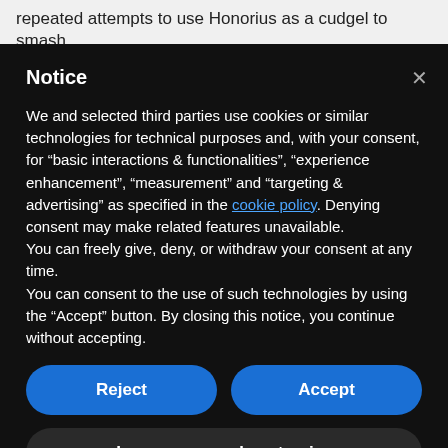repeated attempts to use Honorius as a cudgel to smash
Notice
We and selected third parties use cookies or similar technologies for technical purposes and, with your consent, for “basic interactions & functionalities”, “experience enhancement”, “measurement” and “targeting & advertising” as specified in the cookie policy. Denying consent may make related features unavailable.
You can freely give, deny, or withdraw your consent at any time.
You can consent to the use of such technologies by using the “Accept” button. By closing this notice, you continue without accepting.
Reject
Accept
Learn more and customize